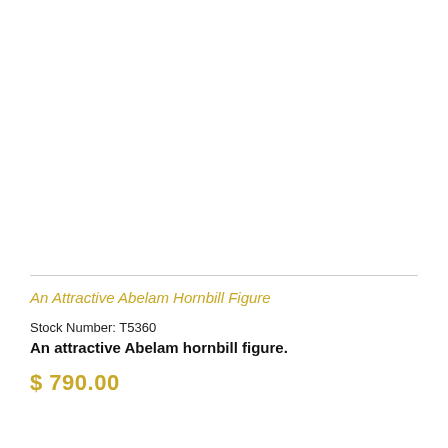[Figure (photo): Empty white image area for an Abelam hornbill figure product photo]
An Attractive Abelam Hornbill Figure
Stock Number: T5360
An attractive Abelam hornbill figure.
$ 790.00